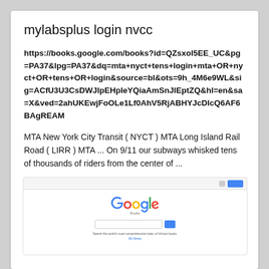mylabsplus login nvcc
https://books.google.com/books?id=QZsxol5EE_UC&pg=PA37&lpg=PA37&dq=mta+nyct+tens+login+mta+OR+nyct+OR+tens+OR+login&source=bl&ots=9h_4M6e9WL&sig=ACfU3U3CsDWJlpEHpIeYQiaAmSnJlEptZQ&hl=en&sa=X&ved=2ahUKEwjFoOLe1Lf0AhV5RjABHYJcDlcQ6AF6BAgREAM
MTA New York City Transit ( NYCT ) MTA Long Island Rail Road ( LIRR ) MTA ... On 9/11 our subways whisked tens of thousands of riders from the center of ...
[Figure (screenshot): Screenshot of Google Books search page showing the Google logo, a search input box, search button, and caption text 'Search the world's most comprehensive index of full-text books.']